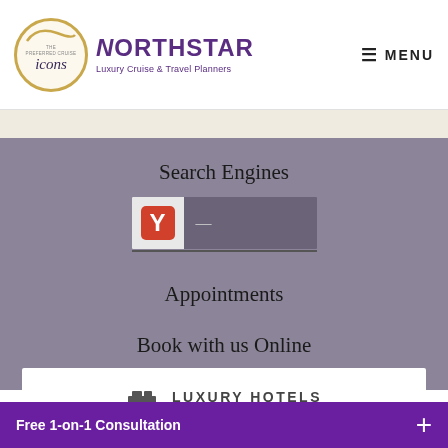[Figure (logo): Northstar Luxury Cruise & Travel Planners logo with circular badge and purple brand name]
MENU
Search Engines
[Figure (screenshot): Yandex search widget with Y logo button and search bar]
Appointments
Book with us Online
[Figure (infographic): White button with bed icon and LUXURY HOTELS label]
Free 1-on-1 Consultation